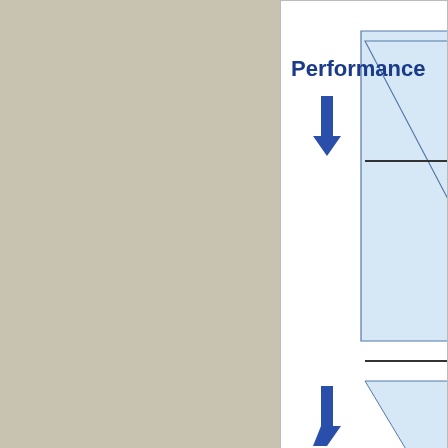[Figure (other): Partial view of an Information Management pyramid diagram showing 'Performance' label in dark blue at the top with an upward arrow, and 'Data' label in dark blue at the bottom with an upward arrow. A light blue triangle/pyramid shape is visible on the right side. Horizontal lines divide pyramid layers.]
Figure 2. Information Manag...
The effective and efficient employment of IM systems should solve business needs. These needs can center on several business objectives, such as